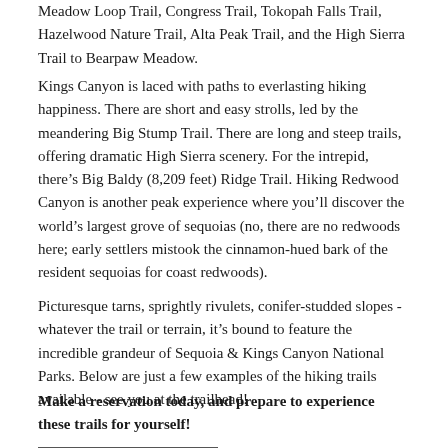Meadow Loop Trail, Congress Trail, Tokopah Falls Trail, Hazelwood Nature Trail, Alta Peak Trail, and the High Sierra Trail to Bearpaw Meadow.
Kings Canyon is laced with paths to everlasting hiking happiness. There are short and easy strolls, led by the meandering Big Stump Trail. There are long and steep trails, offering dramatic High Sierra scenery. For the intrepid, there’s Big Baldy (8,209 feet) Ridge Trail. Hiking Redwood Canyon is another peak experience where you’ll discover the world’s largest grove of sequoias (no, there are no redwoods here; early settlers mistook the cinnamon-hued bark of the resident sequoias for coast redwoods).
Picturesque tarns, sprightly rivulets, conifer-studded slopes - whatever the trail or terrain, it’s bound to feature the incredible grandeur of Sequoia & Kings Canyon National Parks. Below are just a few examples of the hiking trails available - see you at the trailhead!
Make a reservation today, and prepare to experience these trails for yourself!